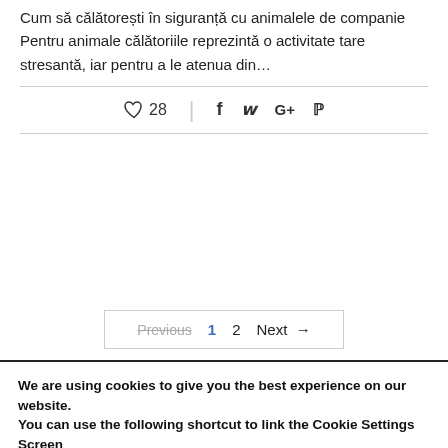Cum să călătorești în siguranță cu animalele de companie
Pentru animale călătoriile reprezintă o activitate tare stresantă, iar pentru a le atenua din…
♡ 28 | f  G+  𝓟
Previous  1  2  Next →
We are using cookies to give you the best experience on our website.
You can use the following shortcut to link the Cookie Settings Screen
settings
Accept